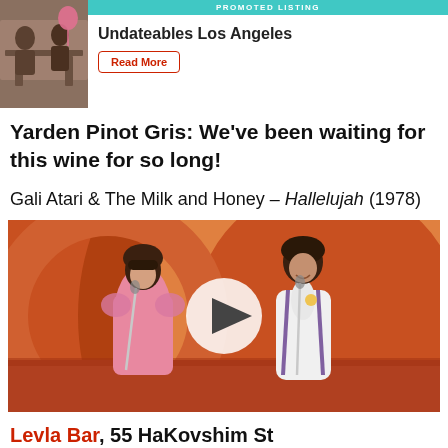[Figure (screenshot): Promoted listing advertisement for Undateables Los Angeles with Read More button]
Yarden Pinot Gris: We've been waiting for this wine for so long!
Gali Atari & The Milk and Honey – Hallelujah (1978)
[Figure (screenshot): Video thumbnail showing Gali Atari and a male performer on stage with colorful background, with a play button overlay]
Levla Bar, 55 HaKovshim St